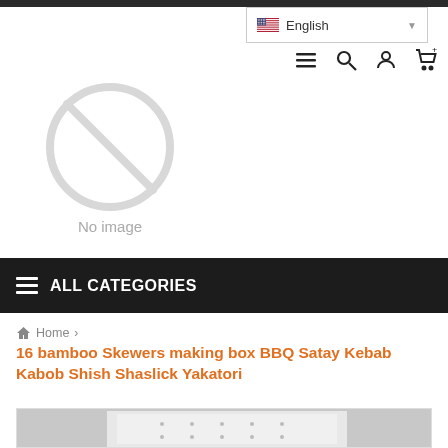English
[Figure (screenshot): No image placeholder with circle-slash icon and text 'No image']
ALL CATEGORIES
Home >
16 bamboo Skewers making box BBQ Satay Kebab Kabob Shish Shaslick Yakatori
[Figure (photo): Photo of a white square BBQ skewer making box with holes on top, partially visible at bottom of page]